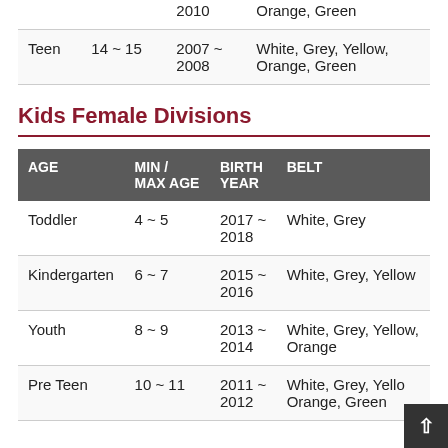| AGE | MIN / MAX AGE | BIRTH YEAR | BELT |
| --- | --- | --- | --- |
|  |  | 2010 | Orange, Green |
| Teen | 14 ~ 15 | 2007 ~ 2008 | White, Grey, Yellow, Orange, Green |
Kids Female Divisions
| AGE | MIN / MAX AGE | BIRTH YEAR | BELT |
| --- | --- | --- | --- |
| Toddler | 4 ~ 5 | 2017 ~ 2018 | White, Grey |
| Kindergarten | 6 ~ 7 | 2015 ~ 2016 | White, Grey, Yellow |
| Youth | 8 ~ 9 | 2013 ~ 2014 | White, Grey, Yellow, Orange |
| Pre Teen | 10 ~ 11 | 2011 ~ 2012 | White, Grey, Yellow, Orange, Green |